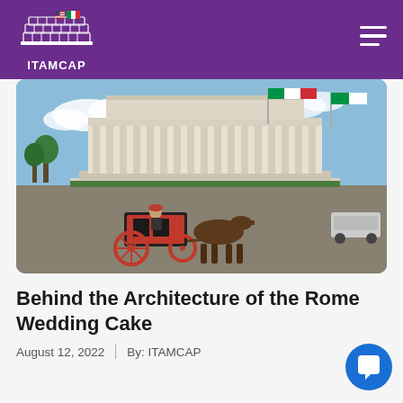ITAMCAP
[Figure (photo): A horse-drawn red carriage in front of the Altare della Patria (Vittoriano monument) in Rome, Italy, with the Italian flag flying. The large white neoclassical building dominates the background under a partly cloudy sky.]
Behind the Architecture of the Rome Wedding Cake
August 12, 2022  |  By: ITAMCAP